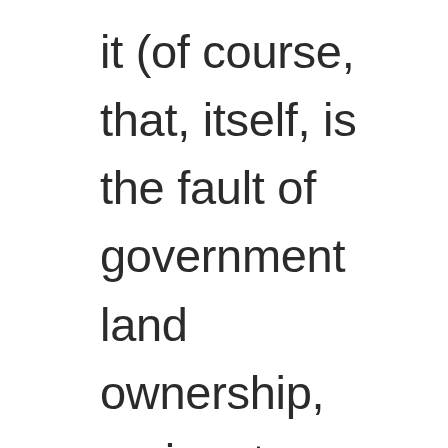it (of course, that, itself, is the fault of government land ownership, eminent domain, zoning laws, and credit policy). But